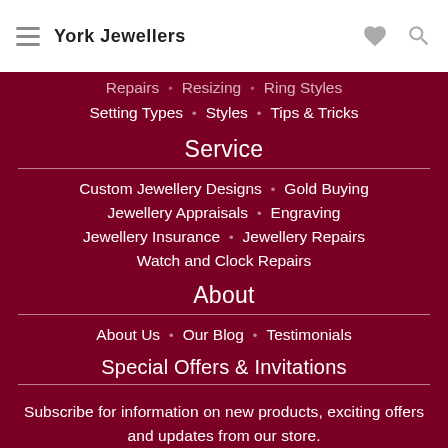York Jewellers
Repairs · Resizing · Ring Styles
Setting Types · Styles · Tips & Tricks
Service
Custom Jewellery Designs · Gold Buying
Jewellery Appraisals · Engraving
Jewellery Insurance · Jewellery Repairs
Watch and Clock Repairs
About
About Us · Our Blog · Testimonials
Special Offers & Invitations
Subscribe for information on new products, exciting offers and updates from our store.